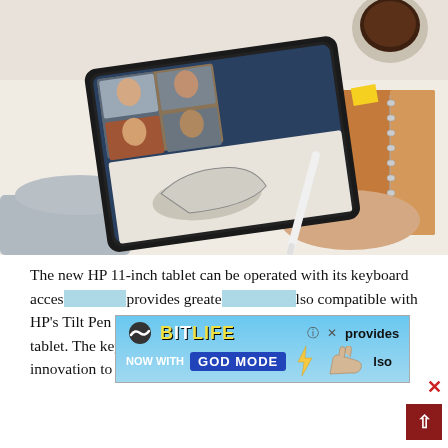[Figure (photo): Person holding a tablet with a stylus pen; the tablet shows a video call with four participants in the top half and a shoe design sketch in the bottom half. A notebook and coffee cup visible in background on a white desk.]
The new HP 11-inch tablet can be operated with its keyboard accessories, provides greater... Also compatible with HP's Tilt Pen which further enhances the functionality of the tablet. The keyboard and Tilt Pen accessories offer some innovation to the device. There is